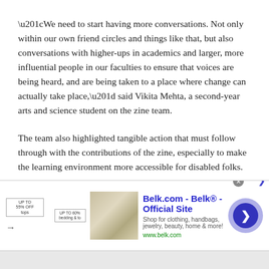“We need to start having more conversations. Not only within our own friend circles and things like that, but also conversations with higher-ups in academics and larger, more influential people in our faculties to ensure that voices are being heard, and are being taken to a place where change can actually take place,” said Vikita Mehta, a second-year arts and science student on the zine team.
The team also highlighted tangible action that must follow through with the contributions of the zine, especially to make the learning environment more accessible for disabled folks.
[Figure (other): Advertisement banner for Belk.com - Belk Official Site. Shows clothing/home product image, ad text 'Shop for clothing, handbags, jewelry, beauty, home & more! www.belk.com', a circular navigation button, close button, and promotional tags.]